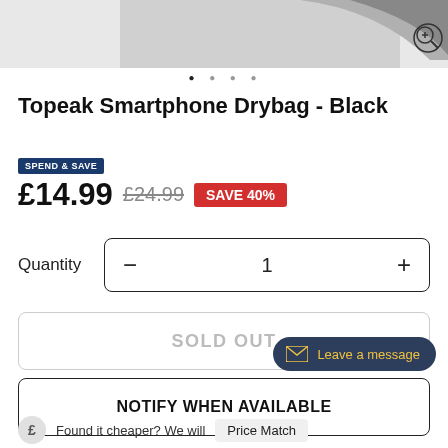[Figure (photo): Partial product image of Topeak Smartphone Drybag at top of page]
Topeak Smartphone Drybag - Black
SPEND & SAVE £14.99 £24.99 SAVE 40%
Quantity - 1 +
SOLD OUT
Leave a message
NOTIFY WHEN AVAILABLE
Found it cheaper? We will Price Match